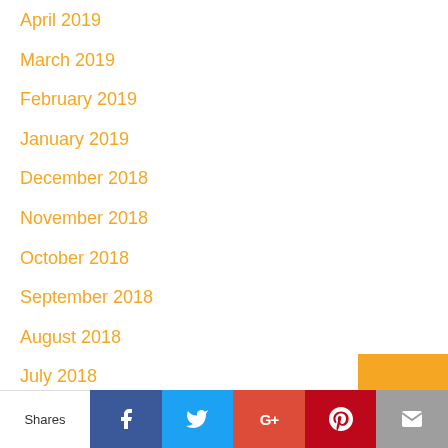April 2019
March 2019
February 2019
January 2019
December 2018
November 2018
October 2018
September 2018
August 2018
July 2018
June 2018
May 2018
Shares | Facebook | Twitter | Google+ | Pinterest | Mail